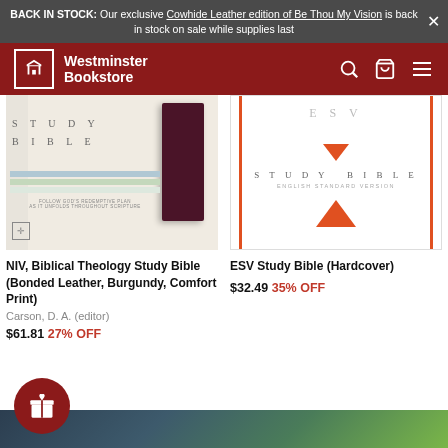BACK IN STOCK: Our exclusive Cowhide Leather edition of Be Thou My Vision is back in stock on sale while supplies last
[Figure (screenshot): Westminster Bookstore navigation bar with logo, store name, search icon, cart icon, and menu icon on dark red background]
[Figure (photo): NIV Biblical Theology Study Bible book cover image]
[Figure (photo): ESV Study Bible hardcover book cover image]
NIV, Biblical Theology Study Bible (Bonded Leather, Burgundy, Comfort Print)
Carson, D. A. (editor)
$61.81 27% OFF
ESV Study Bible (Hardcover)
$32.49 35% OFF